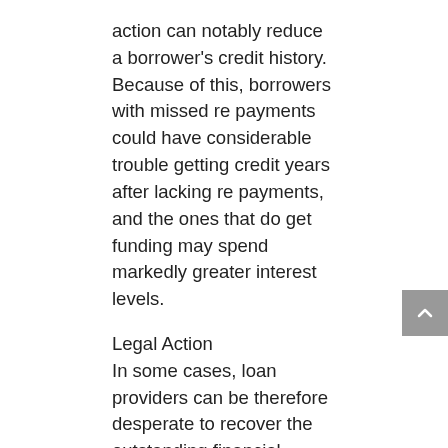action can notably reduce a borrower's credit history. Because of this, borrowers with missed re payments could have considerable trouble getting credit years after lacking re payments, and the ones that do get funding may spend markedly greater interest levels.
Legal Action
In some cases, loan providers can be therefore desperate to recover the outstanding financial obligation that they initiate appropriate action contrary to the borrower. If your loan provider sues, debtors whom employ solicitors may incur hundreds or 1000s of dollars in appropriate costs. The borrower may have no choice to